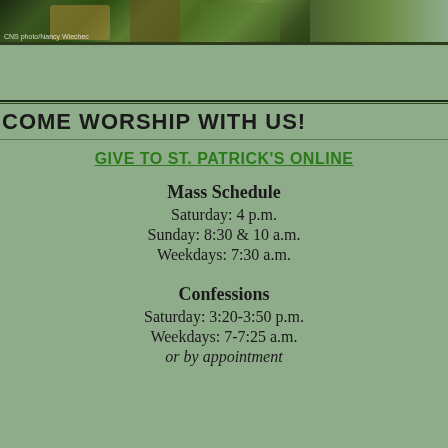[Figure (photo): Photo strip with religious imagery (statue, green foliage). Photo credit: CNS photo/Nancy Wiechec]
CNS photo/Nancy Wiechec
COME WORSHIP WITH US!
GIVE TO ST. PATRICK'S ONLINE
Mass Schedule
Saturday: 4 p.m.
Sunday: 8:30 & 10 a.m.
Weekdays: 7:30 a.m.
Confessions
Saturday: 3:20-3:50 p.m.
Weekdays: 7-7:25 a.m.
or by appointment